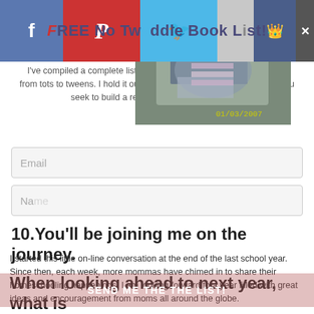[Figure (screenshot): Social media share bar with Facebook, Pinterest, Twitter, Bookmark, Crown icons overlaid on page. Title reads 'FREE No Twaddle Book List!']
[Figure (photo): Photo of a child reading a book, dated 01/03/2007]
I've compiled a complete list of my most favorite books for all ages, from tots to tweens. I hold it out to you and wish you all the best as you seek to build a reading culture in your home.
Email
10. You'll be joining me on the journey.
I started this little on-line conversation at the end of the last school year.  Since then, each week, more mommas have chimed in to share their homeschooling happenings.  I am looking forward to a year filled with great ideas and encouragement from moms all around the globe.
SEND ME THE THE LIST!
Even with all these changes, there's no guarantee that the coming year will be successful, but one thing's for certain...it's sure to be memorable one!
When looking ahead to next year, what is